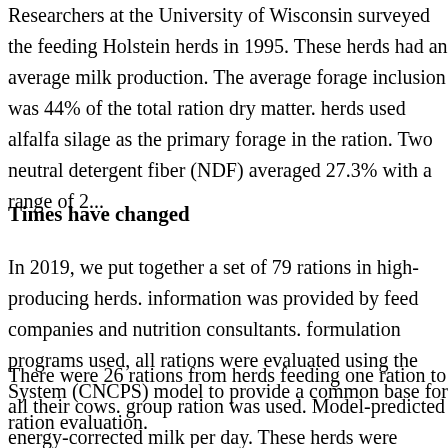Researchers at the University of Wisconsin surveyed the feeding Holstein herds in 1995. These herds had an average milk production. The average forage inclusion was 44% of the total ration dry matter. herds used alfalfa silage as the primary forage in the ration. Two neutral detergent fiber (NDF) averaged 27.3% with a range of 2...
Times have changed
In 2019, we put together a set of 79 rations in high-producing herds. information was provided by feed companies and nutrition consultants. formulation programs used, all rations were evaluated using the System (CNCPS) model to provide a common base for ration evaluation.
There were 26 rations from herds feeding one ration to all their cows. group ration was used. Model-predicted energy-corrected milk per day. These herds were primarily from the Northeast and Midwest...